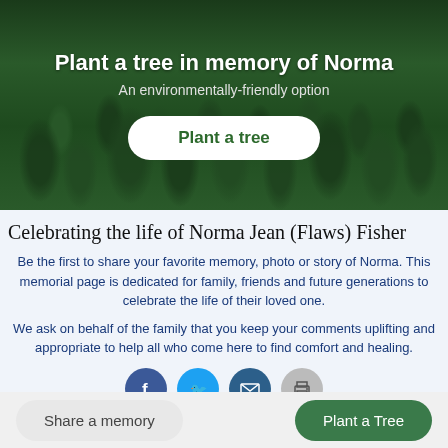[Figure (photo): Dark forest of evergreen/pine trees viewed from above or at angle, used as background banner image]
Plant a tree in memory of Norma
An environmentally-friendly option
Plant a tree
Celebrating the life of Norma Jean (Flaws) Fisher
Be the first to share your favorite memory, photo or story of Norma. This memorial page is dedicated for family, friends and future generations to celebrate the life of their loved one.
We ask on behalf of the family that you keep your comments uplifting and appropriate to help all who come here to find comfort and healing.
Share a memory
Plant a Tree